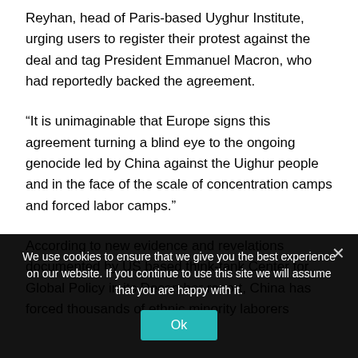Reyhan, head of Paris-based Uyghur Institute, urging users to register their protest against the deal and tag President Emmanuel Macron, who had reportedly backed the agreement.
“It is unimaginable that Europe signs this agreement turning a blind eye to the ongoing genocide led by China against the Uighur people and in the face of the scale of concentration camps and forced labor camps.”
According to new evidence and revelations documented by US based think-tank Center for Global Policy in its December report, China has forced thousands of ethnic minority laborers
We use cookies to ensure that we give you the best experience on our website. If you continue to use this site we will assume that you are happy with it.